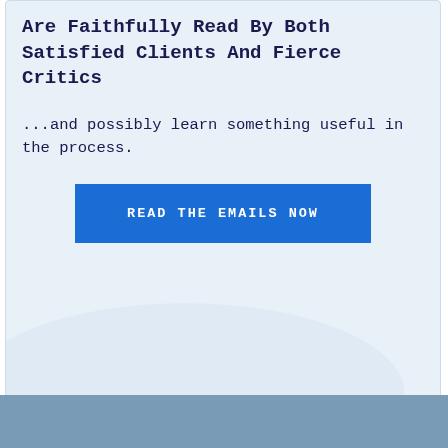Are Faithfully Read By Both Satisfied Clients And Fierce Critics
...and possibly learn something useful in the process.
[Figure (other): Blue CTA button with text READ THE EMAILS NOW]